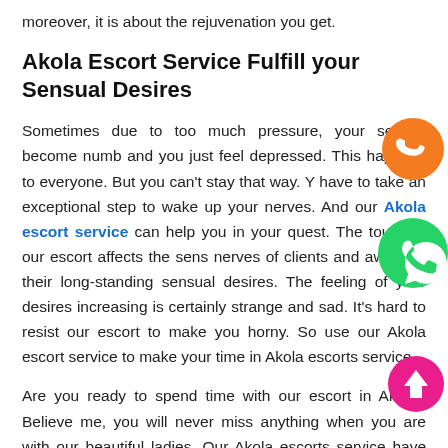moreover, it is about the rejuvenation you get.
Akola Escort Service Fulfill your Sensual Desires
Sometimes due to too much pressure, your senses become numb and you just feel depressed. This happens to everyone. But you can't stay that way. You have to take an exceptional step to wake up your nerves. And our Akola escort service can help you in your quest. The touch of our escort affects the sense nerves of clients and awakens their long-standing sensual desires. The feeling of your desires increasing is certainly strange and sad. It's hard to resist our escort to make you horny. So use our Akola escort service to make your time in Akola escorts service.
Are you ready to spend time with our escort in Akola? Believe me, you will never miss anything when you are with our beautiful ladies. Our Akola escorts service have always performed best to provide maximum